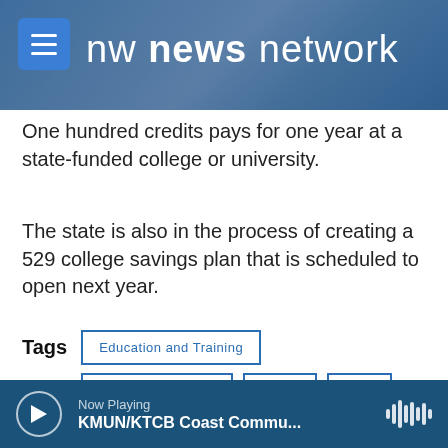nw news network
One hundred credits pays for one year at a state-funded college or university.
The state is also in the process of creating a 529 college savings plan that is scheduled to open next year.
Tags  Education and Training  Washington Ledge  tuition  GET
Now Playing  KMUN/KTCB Coast Commu...